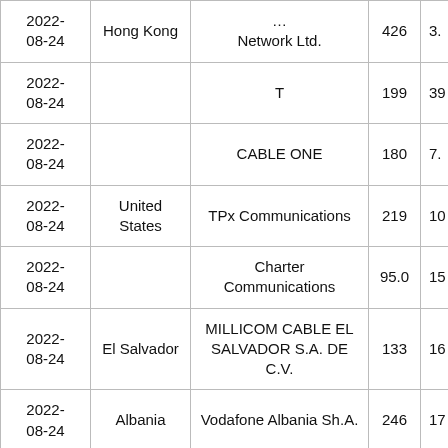| Date | Country | Organization | Col4 | Col5 |
| --- | --- | --- | --- | --- |
| 2022-
08-24 | Hong Kong | …Network Ltd. | 426 | 3. |
| 2022-
08-24 |  | T | 199 | 39 |
| 2022-
08-24 |  | CABLE ONE | 180 | 7. |
| 2022-
08-24 | United States | TPx Communications | 219 | 10 |
| 2022-
08-24 |  | Charter Communications | 95.0 | 15 |
| 2022-
08-24 | El Salvador | MILLICOM CABLE EL SALVADOR S.A. DE C.V. | 133 | 16 |
| 2022-
08-24 | Albania | Vodafone Albania Sh.A. | 246 | 17 |